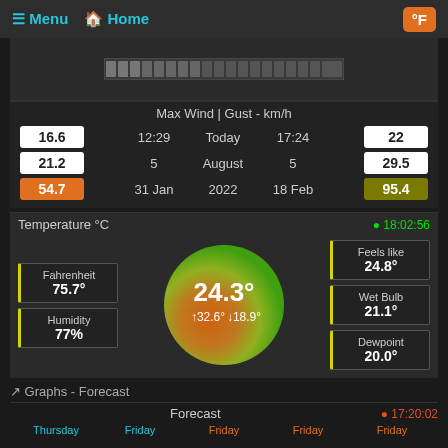≡ Menu  🏠 Home  °F
[Figure (infographic): Wind speed bar indicator graphic]
Max Wind | Gust - km/h
| Wind | Time | Period | Time | Gust |
| --- | --- | --- | --- | --- |
| 16.6 | 12:29 | Today | 17:24 | 22 |
| 21.2 | 5 | August | 5 | 29.5 |
| 54.7 | 31 Jan | 2022 | 18 Feb | 95.4 |
Temperature °C  ● 18:02:56
Fahrenheit 75.7°
Humidity 77%
[Figure (infographic): Temperature gauge circle showing 24.3° with max 32.6° and min 18.9°]
Feels like 24.8°
Wet Bulb 21.1°
Dewpoint 20.0°
Graphs - Forecast
Forecast  ● 17:20:02
Thursday | Friday | Friday | Friday | Friday